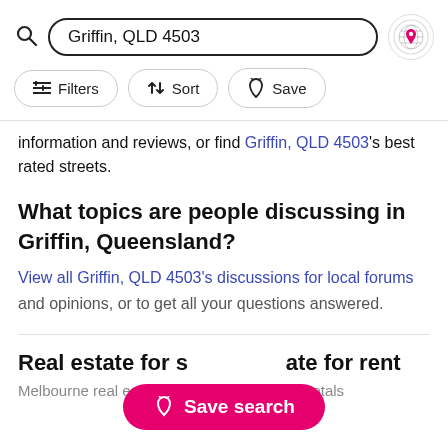[Figure (screenshot): Search bar with 'Griffin, QLD 4503' text and map icon button]
[Figure (screenshot): Filter row with Filters, Sort, and Save buttons]
information and reviews, or find Griffin, QLD 4503's best rated streets.
What topics are people discussing in Griffin, Queensland?
View all Griffin, QLD 4503's discussions for local forums and opinions, or to get all your questions answered.
Real estate for s[Save search button]ate for rent
Melbourne real estate   Melbourne rentals